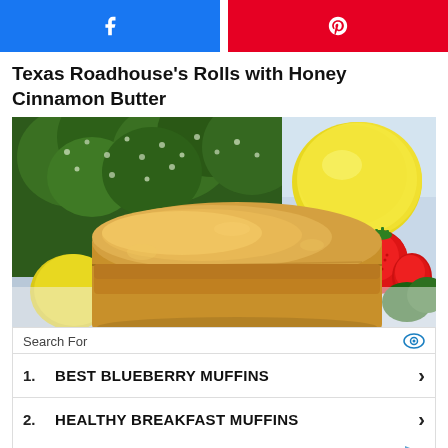[Figure (other): Social share buttons: Facebook (blue) and Pinterest (red) with icons]
Texas Roadhouse's Rolls with Honey Cinnamon Butter
[Figure (photo): Close-up food photo showing a golden biscuit/roll with strawberries, lemons, and green herbs in the background]
|  | Search results |  |
| --- | --- | --- |
| 1. | BEST BLUEBERRY MUFFINS | › |
| 2. | HEALTHY BREAKFAST MUFFINS | › |